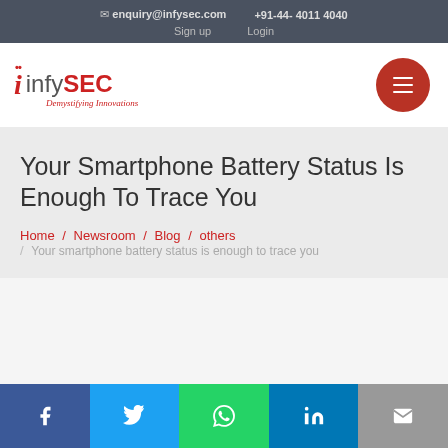✉ enquiry@infysec.com  +91-44- 4011 4040  Sign up  Login
[Figure (logo): infySEC logo with red stylized i icon and tagline Demystifying Innovations]
Your Smartphone Battery Status Is Enough To Trace You
Home / Newsroom / Blog / others / Your smartphone battery status is enough to trace you